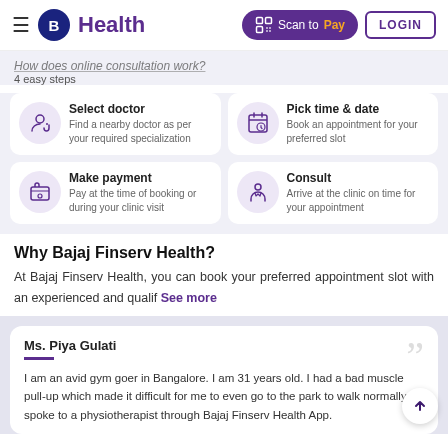B Health | Scan to Pay | LOGIN
How does online consultation work? 4 easy steps
Select doctor – Find a nearby doctor as per your required specialization
Pick time & date – Book an appointment for your preferred slot
Make payment – Pay at the time of booking or during your clinic visit
Consult – Arrive at the clinic on time for your appointment
Why Bajaj Finserv Health?
At Bajaj Finserv Health, you can book your preferred appointment slot with an experienced and qualif See more
Ms. Piya Gulati
I am an avid gym goer in Bangalore. I am 31 years old. I had a bad muscle pull-up which made it difficult for me to even go to the park to walk normally. I spoke to a physiotherapist through Bajaj Finserv Health App.